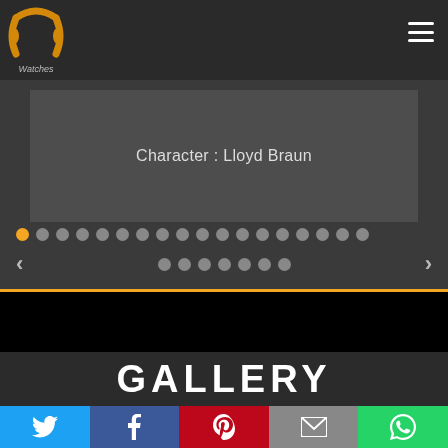[Figure (logo): PP Watches logo — stylized golden headphone/PP symbol with 'Watches' text below]
[Figure (screenshot): Website navigation bar with hamburger menu icon]
Character : Lloyd Braun
[Figure (screenshot): Carousel pagination dots — one orange active dot followed by multiple grey dots in two rows, with left and right navigation arrows]
GALLERY
[Figure (infographic): Social share bar with Twitter, Facebook, Pinterest, Email, and WhatsApp buttons]